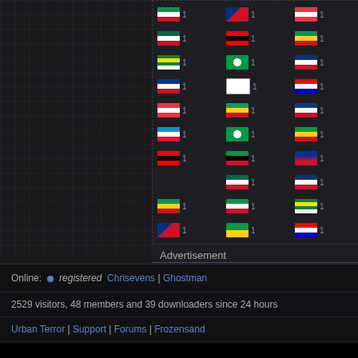[Figure (other): Grid of country flags each with count of 1, arranged in 3 columns. Flags represent various countries including Caribbean, African, and other nations. Left panel shows dark grid background.]
Advertisement
Online: • registered Chrisevens | Ghostman
2529 visitors, 48 members and 39 downloaders since 24 hours
Urban Terror | Support | Forums | Frozensand
Copyright © 1999-2022 Frozensand Games Limited  |  All rights reserved
Frozensand Games is a Limited company regis